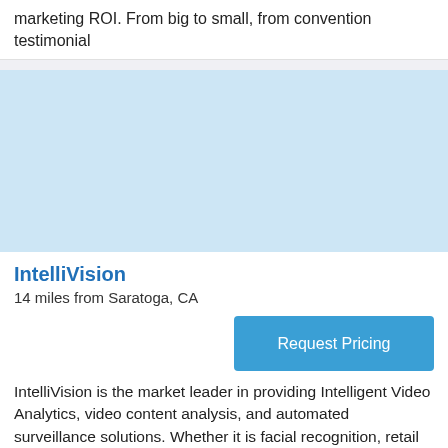marketing ROI. From big to small, from convention testimonial
[Figure (other): Light blue placeholder image block]
IntelliVision
14 miles from Saratoga, CA
Request Pricing
IntelliVision is the market leader in providing Intelligent Video Analytics, video content analysis, and automated surveillance solutions. Whether it is facial recognition, retail business intelligence, advanced security analytics, or Customer Metrics;